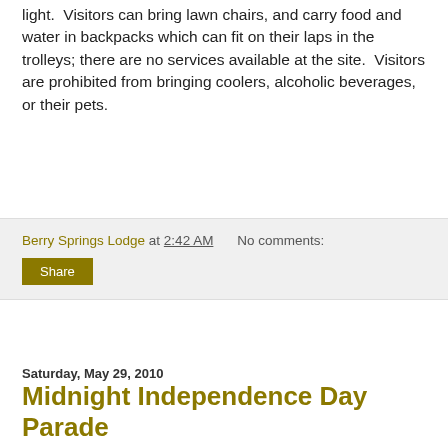light.  Visitors can bring lawn chairs, and carry food and water in backpacks which can fit on their laps in the trolleys; there are no services available at the site.  Visitors are prohibited from bringing coolers, alcoholic beverages, or their pets.
Berry Springs Lodge at 2:42 AM    No comments:  Share
Saturday, May 29, 2010
Midnight Independence Day Parade